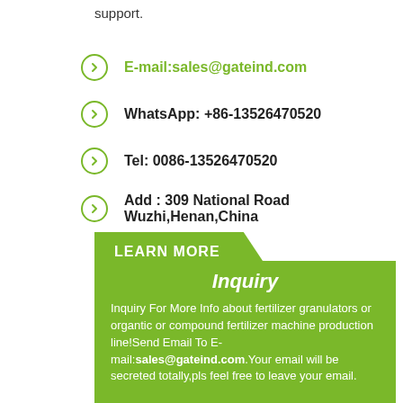support.
E-mail:sales@gateind.com
WhatsApp: +86-13526470520
Tel: 0086-13526470520
Add : 309 National Road Wuzhi,Henan,China
LEARN MORE
Inquiry
Inquiry For More Info about fertilizer granulators or organtic or compound fertilizer machine production line!Send Email To E-mail:sales@gateind.com.Your email will be secreted totally,pls feel free to leave your email.